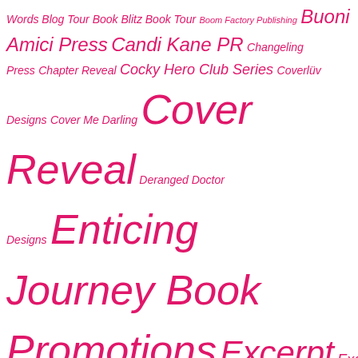[Figure (infographic): Tag cloud of book publishing and PR related terms in pink italic text at varying font sizes indicating frequency/importance. Terms include: Words Blog Tour Book Blitz Book Tour, Boom Factory Publishing, Buoni Amici Press, Candi Kane PR, Changeling Press, Chapter Reveal, Cocky Hero Club Series, Coverlüv Designs, Cover Me Darling, Cover Reveal, Deranged Doctor Designs, Enticing Journey Book Promotions, Excerpt, Excerpt Reveal, Exclusive Excerpt, Foreword PR & Marketing, Freebie, FuriousFotog Photography, Giveaway, Give Me Books Promotions, Hang Le, IndieSagePR, IndiGo Marketing & Design, Inkslinger PR, Jersey Girl Designs, JoandIsaLoveBooks, Kari March Designs, Lady Amber's PR, Limitless Publishing, Lindee Robinson Photography, Lip Services PR, Lori Jackson Designs, L Woods PR, MadHat Studios, Mayhem Cover Creations, Michelle Lancaster Photography, Montlake Publishing, Najla]